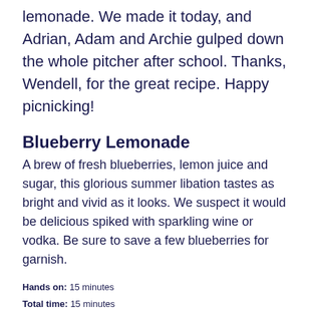lemonade. We made it today, and Adrian, Adam and Archie gulped down the whole pitcher after school. Thanks, Wendell, for the great recipe. Happy picnicking!
Blueberry Lemonade
A brew of fresh blueberries, lemon juice and sugar, this glorious summer libation tastes as bright and vivid as it looks. We suspect it would be delicious spiked with sparkling wine or vodka. Be sure to save a few blueberries for garnish.
Hands on: 15 minutes
Total time: 15 minutes
Serves: 4-6
1 cup fresh blueberries, washed and drained
1 1/3 cup sugar, divided
2 1/4 quarts water, divided